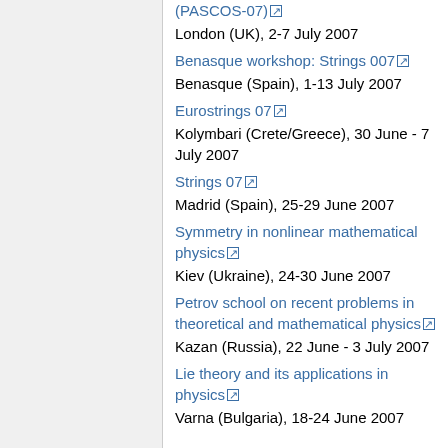(PASCOS-07)
London (UK), 2-7 July 2007
Benasque workshop: Strings 007
Benasque (Spain), 1-13 July 2007
Eurostrings 07
Kolymbari (Crete/Greece), 30 June - 7 July 2007
Strings 07
Madrid (Spain), 25-29 June 2007
Symmetry in nonlinear mathematical physics
Kiev (Ukraine), 24-30 June 2007
Petrov school on recent problems in theoretical and mathematical physics
Kazan (Russia), 22 June - 3 July 2007
Lie theory and its applications in physics
Varna (Bulgaria), 18-24 June 2007